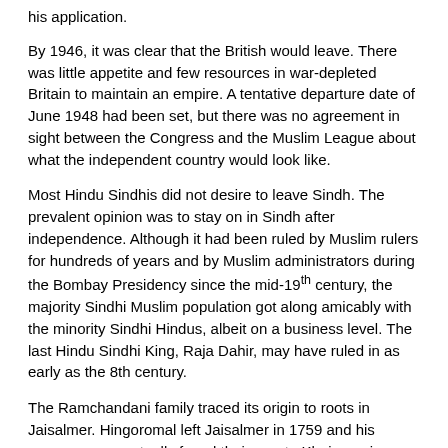his application.
By 1946, it was clear that the British would leave. There was little appetite and few resources in war-depleted Britain to maintain an empire. A tentative departure date of June 1948 had been set, but there was no agreement in sight between the Congress and the Muslim League about what the independent country would look like.
Most Hindu Sindhis did not desire to leave Sindh. The prevalent opinion was to stay on in Sindh after independence. Although it had been ruled by Muslim rulers for hundreds of years and by Muslim administrators during the Bombay Presidency since the mid-19th century, the majority Sindhi Muslim population got along amicably with the minority Sindhi Hindus, albeit on a business level. The last Hindu Sindhi King, Raja Dahir, may have ruled in as early as the 8th century.
The Ramchandani family traced its origin to roots in Jaisalmer. Hingoromal left Jaisalmer in 1759 and his successors eventually found their way to Khairpur via Khudabad and Hyderabad (Sindh). One of his grandsons